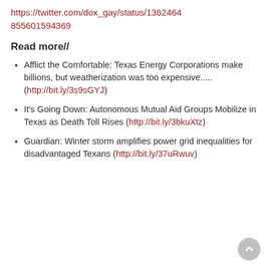https://twitter.com/dox_gay/status/13624648 55601594369
Read more//
Afflict the Comfortable: Texas Energy Corporations make billions, but weatherization was too expensive..... (http://bit.ly/3s9sGYJ)
It's Going Down: Autonomous Mutual Aid Groups Mobilize in Texas as Death Toll Rises (http://bit.ly/3bkuXtz)
Guardian: Winter storm amplifies power grid inequalities for disadvantaged Texans (http://bit.ly/37uRwuv)